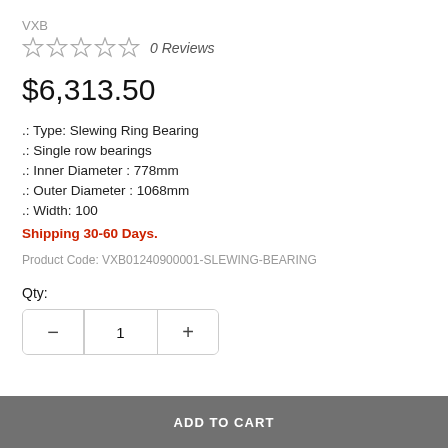VXB
★★★★★ 0 Reviews
$6,313.50
.: Type: Slewing Ring Bearing
.: Single row bearings
.: Inner Diameter : 778mm
.: Outer Diameter : 1068mm
.: Width: 100
Shipping 30-60 Days.
Product Code: VXB01240900001-SLEWING-BEARING
Qty:
1
ADD TO CART